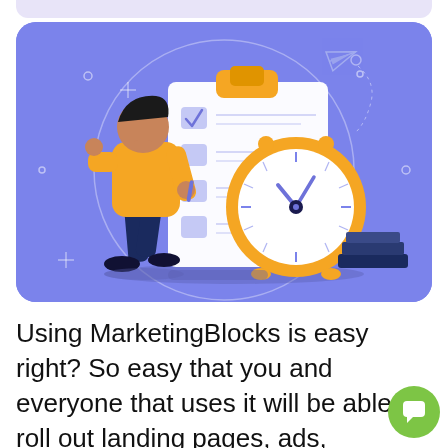[Figure (illustration): Flat-style illustration on a purple/periwinkle background showing a person in an orange shirt checking items off a large clipboard/checklist, with a large orange alarm clock behind it and stacked books at the bottom right. Decorative elements include a paper airplane, circles, and a large light circle outline. Set on a rounded-rectangle purple card.]
Using MarketingBlocks is easy right? So easy that you and everyone that uses it will be able to roll out landing pages, ads, voiceovers, logos, marketing copy, and even videos in minutes (literally)